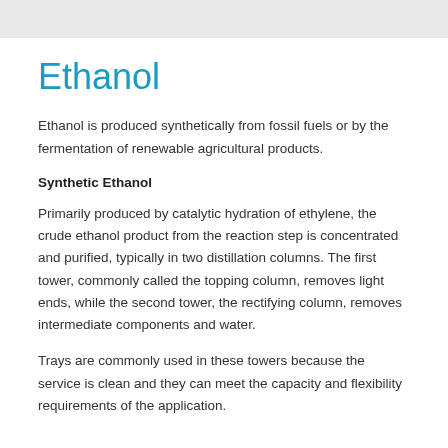Ethanol
Ethanol is produced synthetically from fossil fuels or by the fermentation of renewable agricultural products.
Synthetic Ethanol
Primarily produced by catalytic hydration of ethylene, the crude ethanol product from the reaction step is concentrated and purified, typically in two distillation columns. The first tower, commonly called the topping column, removes light ends, while the second tower, the rectifying column, removes intermediate components and water.
Trays are commonly used in these towers because the service is clean and they can meet the capacity and flexibility requirements of the application.